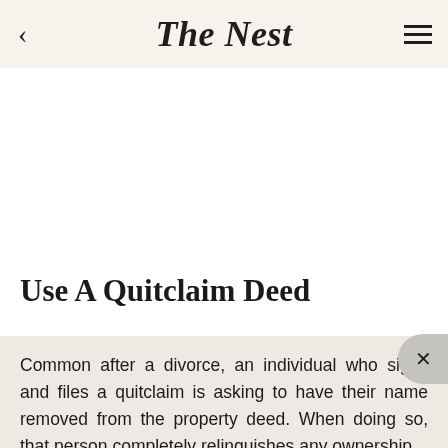The Nest
Use A Quitclaim Deed
Common after a divorce, an individual who signs and files a quitclaim is asking to have their name removed from the property deed. When doing so, that person completely relinquishes any ownership